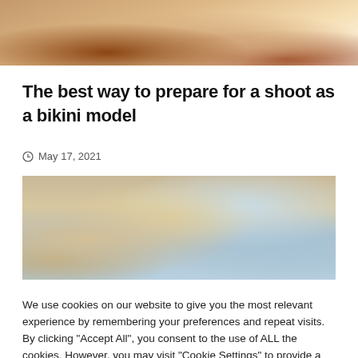[Figure (photo): Cropped photo showing people in swimwear/beach clothing from waist down]
The best way to prepare for a shoot as a bikini model
May 17, 2021
[Figure (photo): Beach photo showing rocky cliff face with ocean and sky in background]
We use cookies on our website to give you the most relevant experience by remembering your preferences and repeat visits. By clicking "Accept All", you consent to the use of ALL the cookies. However, you may visit "Cookie Settings" to provide a controlled consent.